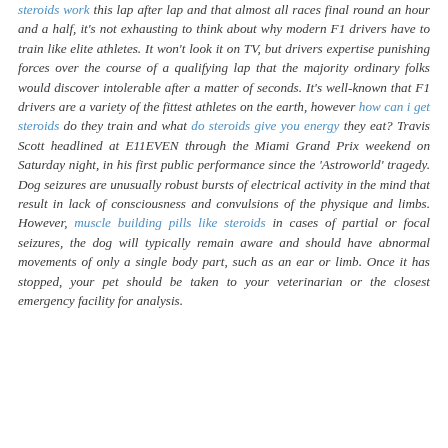steroids work this lap after lap and that almost all races final round an hour and a half, it's not exhausting to think about why modern F1 drivers have to train like elite athletes. It won't look it on TV, but drivers expertise punishing forces over the course of a qualifying lap that the majority ordinary folks would discover intolerable after a matter of seconds. It's well-known that F1 drivers are a variety of the fittest athletes on the earth, however how can i get steroids do they train and what do steroids give you energy they eat? Travis Scott headlined at E11EVEN through the Miami Grand Prix weekend on Saturday night, in his first public performance since the 'Astroworld' tragedy. Dog seizures are unusually robust bursts of electrical activity in the mind that result in lack of consciousness and convulsions of the physique and limbs. However, muscle building pills like steroids in cases of partial or focal seizures, the dog will typically remain aware and should have abnormal movements of only a single body part, such as an ear or limb. Once it has stopped, your pet should be taken to your veterinarian or the closest emergency facility for analysis.